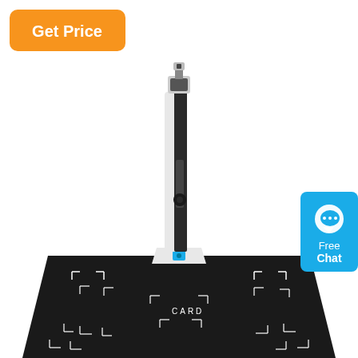[Figure (photo): A document scanner / book scanner device with a tall black and white arm/column mounted on a trapezoidal black base/mat. The base has alignment markers and the word CARD printed on it. The device has a camera head at the top and a teal button on the base of the column.]
[Figure (other): Orange rounded rectangle button with white bold text reading 'Get Price', positioned in the upper-left corner.]
[Figure (other): Cyan/teal rounded rectangle chat button on the right edge with a speech bubble icon and white text reading 'Free Chat'.]